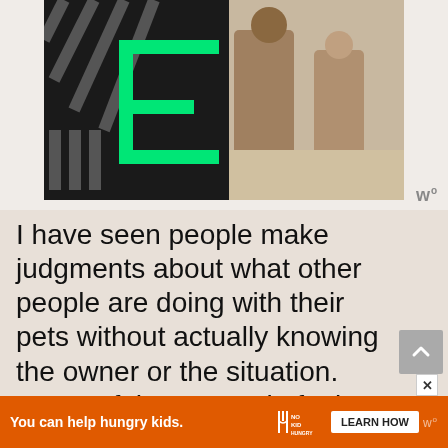[Figure (photo): Banner image showing a dark background with a green bracket/E logo on the left and a photo of an adult and child working on a robotics project on the right]
I have seen people make judgments about what other people are doing with their pets without actually knowing the owner or the situation. Some of these people feel perfectly ok confronting the person online or in person. Heck, I've been one of those people judging (more often than I would like to admit). I've also been blasted by others judging my actions
[Figure (infographic): Advertisement bar: You can help hungry kids. No Kid Hungry logo. LEARN HOW button.]